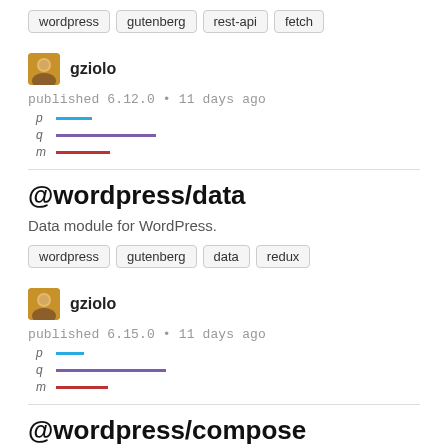wordpress
gutenberg
rest-api
fetch
gziolo
published 6.12.0 • 11 days ago
[Figure (bar-chart): Mini bar chart with p, q, m rows showing colored horizontal bars]
@wordpress/data
Data module for WordPress.
wordpress
gutenberg
data
redux
gziolo
published 6.15.0 • 11 days ago
[Figure (bar-chart): Mini bar chart with p, q, m rows showing colored horizontal bars]
@wordpress/compose